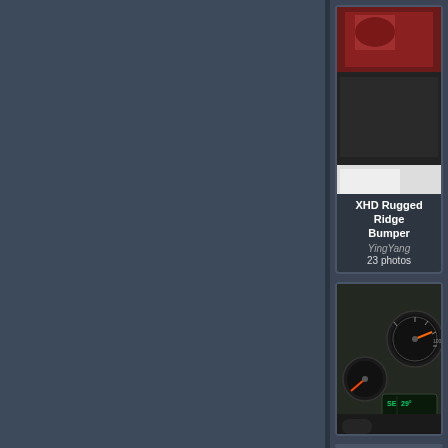[Figure (photo): Left panel showing a dark blue-gray background area, partial view of a large content area]
[Figure (photo): Thumbnail photo of XHD Rugged Ridge Bumper - shows damaged bumper with red and black coloring]
XHD Rugged Ridge Bumper
YingYang
23 photos
[Figure (photo): Thumbnail photo of car dashboard/instrument cluster showing speedometer and gauges with orange needles, digital display showing SE 29]
| Field | Value |
| --- | --- |
| IMG001101 |  |
| User: | YingYang |
| Views: | 5113 |
| Rating: | 0.00 |
| Date: | Tue January F... |